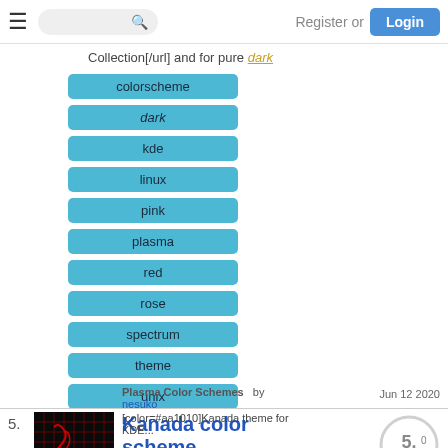Register or Login
Collection[/url] and for pure dark
colorscheme
dark
kde
linux
pink
plasma
red
rose
spectrum
theme
unix
5.
[Figure (screenshot): Thumbnail of Kanada color scheme showing dark background with red grid lines]
Kanada color scheme
Plasma Color Schemes   by nesuko
[color=#aa1010]Kanada theme for KDE...